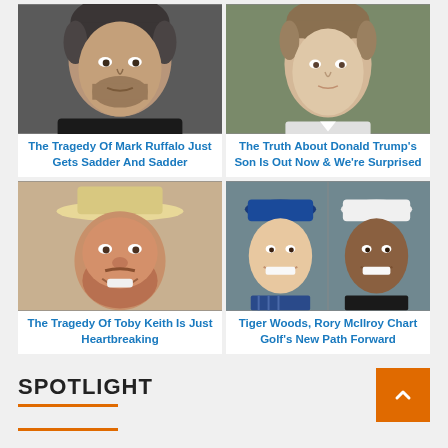[Figure (photo): Headshot of Mark Ruffalo, middle-aged man with dark gray hair]
The Tragedy Of Mark Ruffalo Just Gets Sadder And Sadder
[Figure (photo): Photo of a young boy, Donald Trump's son Barron]
The Truth About Donald Trump's Son Is Out Now & We're Surprised
[Figure (photo): Headshot of Toby Keith, country singer wearing a cowboy hat]
The Tragedy Of Toby Keith Is Just Heartbreaking
[Figure (photo): Side-by-side photo of Rory McIlroy and Tiger Woods, both smiling]
Tiger Woods, Rory McIlroy Chart Golf's New Path Forward
SPOTLIGHT